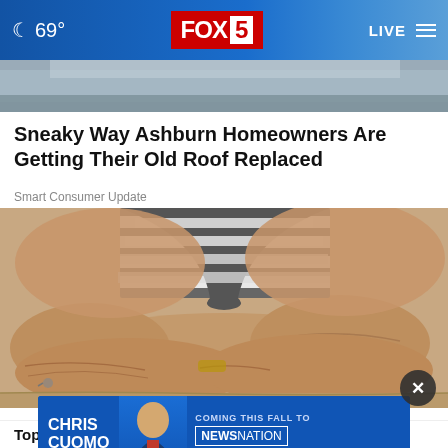🌙 69° FOX 5 LIVE
[Figure (photo): Partial image visible below navigation bar]
Sneaky Way Ashburn Homeowners Are Getting Their Old Roof Replaced
Smart Consumer Update
[Figure (photo): Close-up photo of elderly person's weathered, wrinkled arms resting on a surface, wearing striped shirt]
[Figure (photo): Advertisement banner: Chris Cuomo Coming This Fall to NewsNation - Find Your Channel]
Top Nutritionist Vitamins You Need Ov...